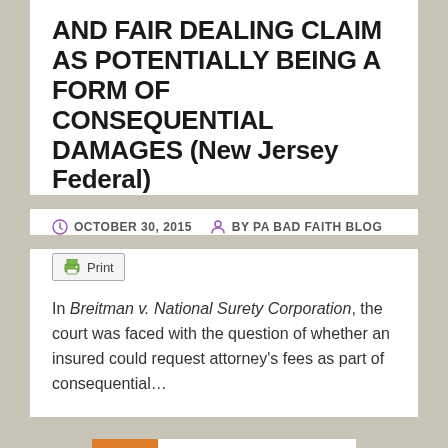AND FAIR DEALING CLAIM AS POTENTIALLY BEING A FORM OF CONSEQUENTIAL DAMAGES (New Jersey Federal)
OCTOBER 30, 2015   BY PA BAD FAITH BLOG
Print
In Breitman v. National Surety Corporation, the court was faced with the question of whether an insured could request attorney's fees as part of consequential…
1  2  3  >
August 2022
M  T  W  T  F  S  S